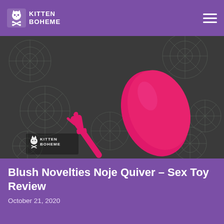KITTEN BOHEME
[Figure (photo): Pink silicone vibrator (Blush Novelties Noje Quiver) with two attachments laid on a dark grey spiderweb-patterned background. The main body is a large teardrop shape, with a long thin wand attachment and a smaller plug attachment beside it. A Kitten Boheme watermark logo appears in the lower left corner of the photo.]
Blush Novelties Noje Quiver – Sex Toy Review
October 21, 2020